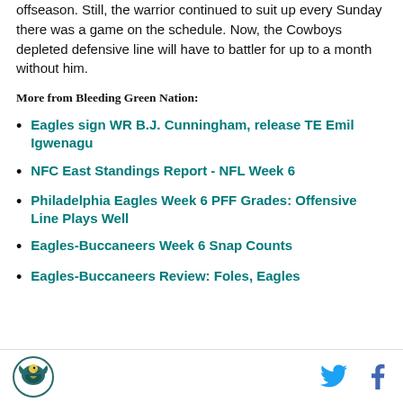offseason. Still, the warrior continued to suit up every Sunday there was a game on the schedule. Now, the Cowboys depleted defensive line will have to battler for up to a month without him.
More from Bleeding Green Nation:
Eagles sign WR B.J. Cunningham, release TE Emil Igwenagu
NFC East Standings Report - NFL Week 6
Philadelphia Eagles Week 6 PFF Grades: Offensive Line Plays Well
Eagles-Buccaneers Week 6 Snap Counts
Eagles-Buccaneers Review: Foles, Eagles
Bleeding Green Nation logo | Twitter | Facebook